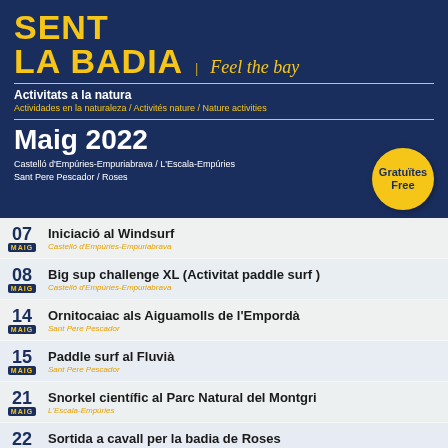SENT LA BADIA | Feel the bay
Activitats a la natura
Actividades en la naturaleza / Activités nature / Nature activities
Maig 2022
Castelló d'Empúries-Empuriabrava / L'Escala-Empúries
Sant Pere Pescador / Roses
07 MAIG – Iniciació al Windsurf – Castelló d'Empúries-Empuriabrava
08 MAIG – Big sup challenge XL (Activitat paddle surf) – Castelló d'Empúries-Empuriabrava
14 MAIG – Ornitocaiac als Aiguamolls de l'Empordà – Sant Pere Pescador
15 MAIG – Paddle surf al Fluvià – Sant Pere Pescador
21 MAIG – Snorkel científic al Parc Natural del Montgri – L'Escala-Empúries
22 MAIG – Sortida a cavall per la badia de Roses – L'Escala-Empúries
28 MAIG – Senderisme als miradors de la badia de Roses – Roses
29 MAIG – Marxa aquàtica per la badia de Roses – Roses